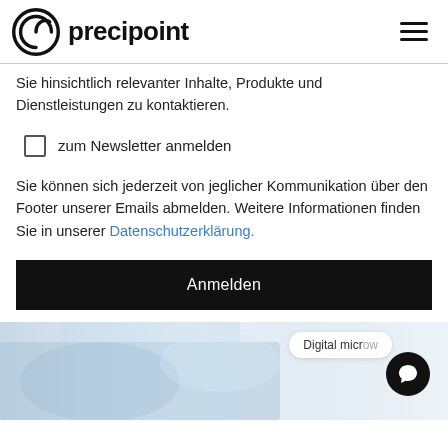precipoint
Sie hinsichtlich relevanter Inhalte, Produkte und Dienstleistungen zu kontaktieren.
zum Newsletter anmelden
Sie können sich jederzeit von jeglicher Kommunikation über den Footer unserer Emails abmelden. Weitere Informationen finden Sie in unserer Datenschutzerklärung.
Anmelden
[Figure (photo): Blurred background image showing a digital microscopy scene with a chat widget overlay showing 'Digital micr...' bubble and a black circular chat icon.]